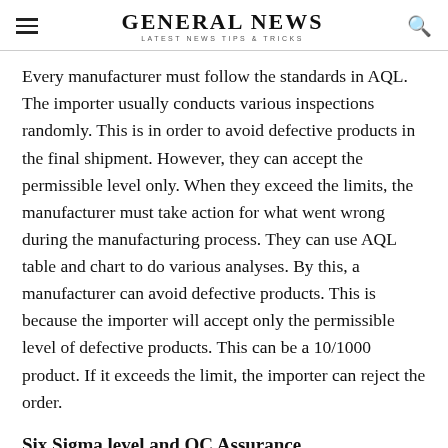GENERAL NEWS — LATEST NEWS TIPS & TRICKS
Every manufacturer must follow the standards in AQL. The importer usually conducts various inspections randomly. This is in order to avoid defective products in the final shipment. However, they can accept the permissible level only. When they exceed the limits, the manufacturer must take action for what went wrong during the manufacturing process. They can use AQL table and chart to do various analyses. By this, a manufacturer can avoid defective products. This is because the importer will accept only the permissible level of defective products. This can be a 10/1000 product. If it exceeds the limit, the importer can reject the order.
Six Sigma level and QC Assurance